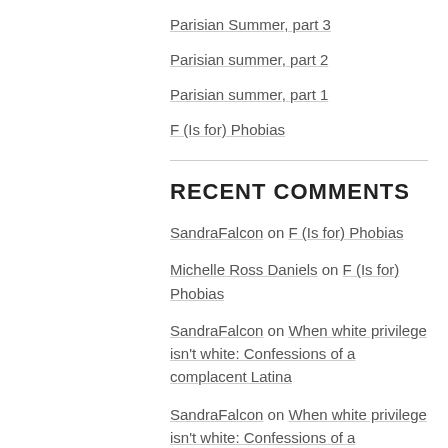Parisian Summer, part 3
Parisian summer, part 2
Parisian summer, part 1
F (Is for) Phobias
RECENT COMMENTS
SandraFalcon on F (Is for) Phobias
Michelle Ross Daniels on F (Is for) Phobias
SandraFalcon on When white privilege isn't white: Confessions of a complacent Latina
SandraFalcon on When white privilege isn't white: Confessions of a complacent Latina
SandraFalcon on When white privilege isn't white: Confessions of a complacent Latina